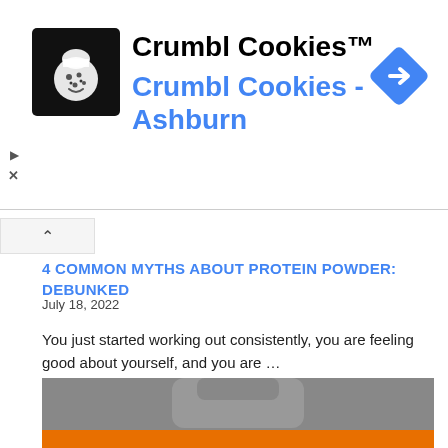[Figure (screenshot): Crumbl Cookies advertisement banner with black square logo showing a chef hat cookie icon, bold text 'Crumbl Cookies™' and blue text 'Crumbl Cookies - Ashburn', and a blue diamond navigation arrow icon on the right. Small play and X icons on the left side.]
4 COMMON MYTHS ABOUT PROTEIN POWDER: DEBUNKED
July 18, 2022
You just started working out consistently, you are feeling good about yourself, and you are …
Read More »
[Figure (photo): Partial photo of a grey protein powder supplement bottle/container against a grey background with an orange banner at the bottom]